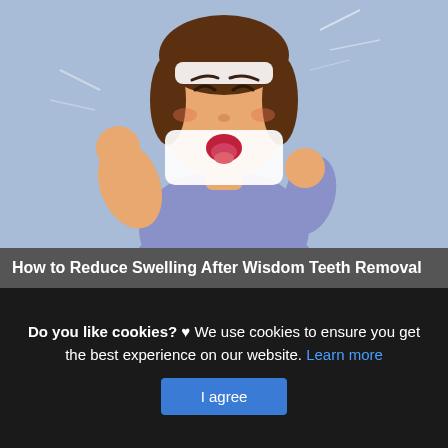[Figure (illustration): Cartoon illustration of a woman with a white bandage wrapped around her jaw/head, mouth open in pain, fists raised, wearing a blue-purple top, against a light blue background.]
How to Reduce Swelling After Wisdom Teeth Removal
This is actually a write-up or even graphic around the How to Reduce Swelling After Wisdom Teeth Removal, if you wish much a lot extra info around the write-up or even photo satisfy click on or even see the complying with web link or even web link
Do you like cookies? ♥ We use cookies to ensure you get the best experience on our website. Learn more
I agree